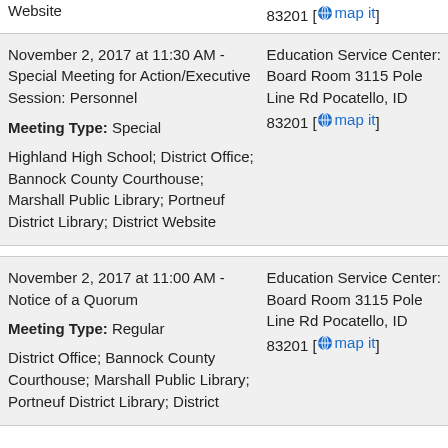Website
November 2, 2017 at 11:30 AM - Special Meeting for Action/Executive Session: Personnel
Meeting Type: Special
Highland High School; District Office; Bannock County Courthouse; Marshall Public Library; Portneuf District Library; District Website
Education Service Center: Board Room 3115 Pole Line Rd Pocatello, ID 83201 [map it]
November 2, 2017 at 11:00 AM - Notice of a Quorum
Meeting Type: Regular
District Office; Bannock County Courthouse; Marshall Public Library; Portneuf District Library; District
Education Service Center: Board Room 3115 Pole Line Rd Pocatello, ID 83201 [map it]